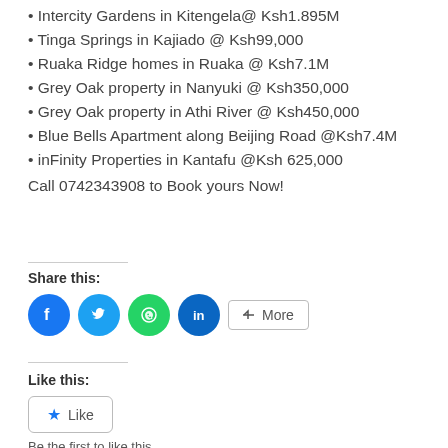• Intercity Gardens in Kitengela@ Ksh1.895M
• Tinga Springs in Kajiado @ Ksh99,000
• Ruaka Ridge homes in Ruaka @ Ksh7.1M
• Grey Oak property in Nanyuki @ Ksh350,000
• Grey Oak property in Athi River @ Ksh450,000
• Blue Bells Apartment along Beijing Road @Ksh7.4M
• inFinity Properties in Kantafu @Ksh 625,000
Call 0742343908 to Book yours Now!
Share this:
[Figure (infographic): Social share buttons: Facebook (blue circle), Twitter (light blue circle), WhatsApp (green circle), LinkedIn (dark blue circle), and a More button]
Like this:
[Figure (infographic): Like button with star icon and text 'Like']
Be the first to like this.